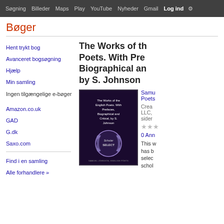Søgning  Billeder  Maps  Play  YouTube  Nyheder  Gmail  Log ind  Mere
Bøger
Hent trykt bog
Avanceret bogsøgning
Hjælp
Min samling
Ingen tilgængelige e-bøger
Amazon.co.uk
GAD
G.dk
Saxo.com
Find i en samling
Alle forhandlere »
The Works of the English Poets. With Prefaces, Biographical and Critical, by S. Johnson
[Figure (illustration): Book cover of 'The Works of the English Poets. With Prefaces, Biographical and Critical, by S. Johnson'. Dark purple/black cover with Scholar Select badge and wreath logo at bottom.]
Samuel Johnson, English Poets
Created by LLC, sider
★★★
0 Anmeldelser
This w has b selec schol